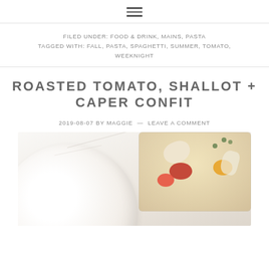≡
FILED UNDER: FOOD & DRINK, MAINS, PASTA
TAGGED WITH: FALL, PASTA, SPAGHETTI, SUMMER, TOMATO, WEEKNIGHT
ROASTED TOMATO, SHALLOT + CAPER CONFIT
2019-08-07 BY MAGGIE — LEAVE A COMMENT
[Figure (photo): Top-down photo on white marble surface showing a white ceramic bowl on the left and a glass jar filled with roasted tomatoes, shallots, and capers on the right]